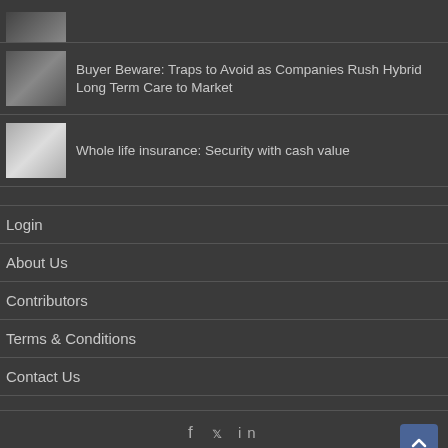[Figure (photo): Small thumbnail photo partially visible at top]
[Figure (photo): Thumbnail of elderly people sitting together outdoors]
Buyer Beware: Traps to Avoid as Companies Rush Hybrid Long Term Care to Market
[Figure (photo): Thumbnail of a couple, woman in black dress and man in tuxedo]
Whole life insurance: Security with cash value
Login
About Us
Contributors
Terms & Conditions
Contact Us
AgenteNews © 2010-2022